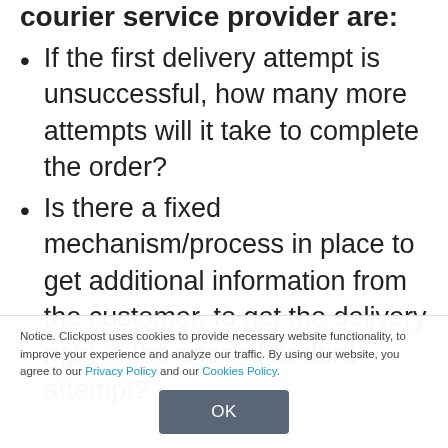courier service provider are:
If the first delivery attempt is unsuccessful, how many more attempts will it take to complete the order?
Is there a fixed mechanism/process in place to get additional information from the customer, to get the delivery right in the second or third attempt?
Notice. Clickpost uses cookies to provide necessary website functionality, to improve your experience and analyze our traffic. By using our website, you agree to our Privacy Policy and our Cookies Policy.
OK